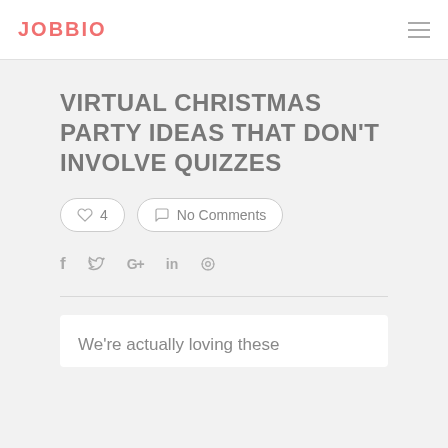JOBBIO
VIRTUAL CHRISTMAS PARTY IDEAS THAT DON'T INVOLVE QUIZZES
♡ 4   No Comments
f  𝕥  G+  in  ⓟ
We're actually loving these